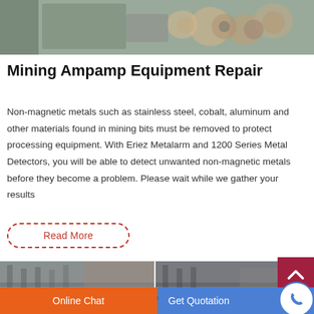[Figure (photo): Industrial mining equipment machinery, crushers and rollers on a surface]
Mining Ampamp Equipment Repair
Non-magnetic metals such as stainless steel, cobalt, aluminum and other materials found in mining bits must be removed to protect processing equipment. With Eriez Metalarm and 1200 Series Metal Detectors, you will be able to detect unwanted non-magnetic metals before they become a problem. Please wait while we gather your results
Read More
[Figure (photo): Two industrial/construction site photos side by side showing scaffolding and industrial structures]
Online Chat
Get Quotation